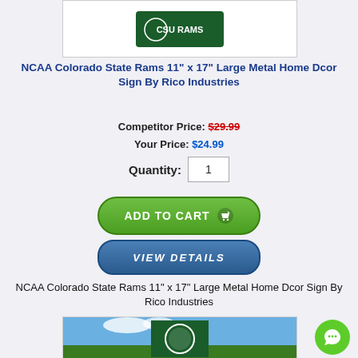[Figure (photo): Colorado State Rams metal sign product image on dark green background with white Rams logo]
NCAA Colorado State Rams 11" x 17" Large Metal Home Dcor Sign By Rico Industries
Competitor Price: $29.99
Your Price: $24.99
Quantity: 1
[Figure (other): Add to Cart button (green rounded rectangle)]
[Figure (other): View Details button (blue rounded rectangle)]
NCAA Colorado State Rams 11" x 17" Large Metal Home Dcor Sign By Rico Industries
[Figure (photo): Colorado State Rams green flag with white Rams logo flying outdoors against sky]